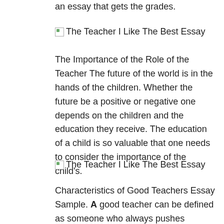an essay that gets the grades.
[Figure (illustration): Broken image placeholder with alt text: The Teacher I Like The Best Essay]
The Importance of the Role of the Teacher The future of the world is in the hands of the children. Whether the future be a positive or negative one depends on the children and the education they receive. The education of a child is so valuable that one needs to consider the importance of the child's.
[Figure (illustration): Broken image placeholder with alt text: The Teacher I Like The Best Essay]
Characteristics of Good Teachers Essay Sample. A good teacher can be defined as someone who always pushes students to want to do their best while